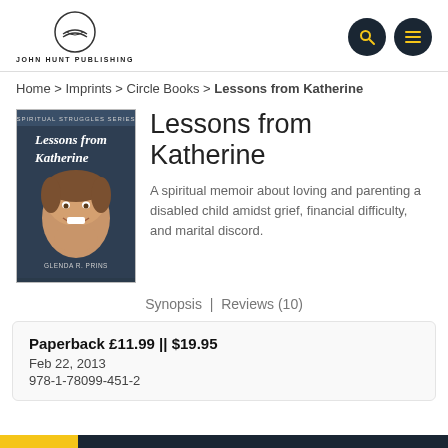[Figure (logo): John Hunt Publishing logo — open book inside a circle, with text JOHN HUNT PUBLISHING below]
[Figure (other): Two dark navy circular icon buttons — a magnifying glass (search) and a hamburger menu]
Home > Imprints > Circle Books > Lessons from Katherine
[Figure (photo): Book cover of 'Lessons from Katherine' by Glenda R. Prins, showing a young smiling girl's face, dark cover with white text, Spiritual Struggles Series label at top]
Lessons from Katherine
A spiritual memoir about loving and parenting a disabled child amidst grief, financial difficulty, and marital discord.
Synopsis | Reviews (10)
Paperback £11.99 || $19.95
Feb 22, 2013
978-1-78099-451-2